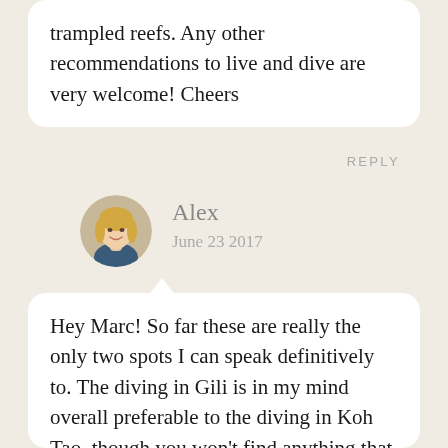trampled reefs. Any other recommendations to live and dive are very welcome! Cheers
REPLY
Alex
June 23 2017
[Figure (photo): Circular avatar photo of a smiling blonde woman]
Hey Marc! So far these are really the only two spots I can speak definitively to. The diving in Gili is in my mind overall preferable to the diving in Koh Tao, though you won't find anything that compares to the deep pinnacle sites like Sail Rock or Chumphon. I definitely left a little piece of my heart in Gili T!